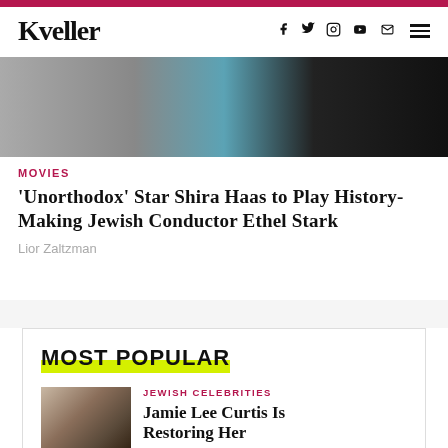Kveller
[Figure (photo): Partial image showing a person in black attire with blue and grey tones in the background]
MOVIES
'Unorthodox' Star Shira Haas to Play History-Making Jewish Conductor Ethel Stark
Lior Zaltzman
MOST POPULAR
JEWISH CELEBRITIES
Jamie Lee Curtis Is Restoring Her